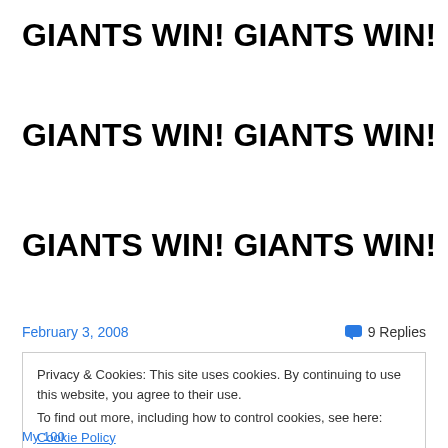GIANTS WIN! GIANTS WIN!
GIANTS WIN! GIANTS WIN!
GIANTS WIN! GIANTS WIN!
February 3, 2008
9 Replies
Privacy & Cookies: This site uses cookies. By continuing to use this website, you agree to their use.
To find out more, including how to control cookies, see here: Cookie Policy
Close and accept
My 100